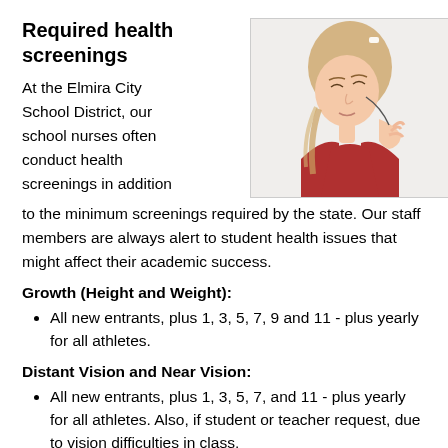Required health screenings
[Figure (photo): A young girl with blonde hair holding her hand to her ear, appearing to listen, wearing a red top, white background.]
At the Elmira City School District, our school nurses often conduct health screenings in addition to the minimum screenings required by the state. Our staff members are always alert to student health issues that might affect their academic success.
Growth (Height and Weight):
All new entrants, plus 1, 3, 5, 7, 9 and 11 - plus yearly for all athletes.
Distant Vision and Near Vision:
All new entrants, plus 1, 3, 5, 7, and 11 - plus yearly for all athletes. Also, if student or teacher request, due to vision difficulties in class.
Color Vision: